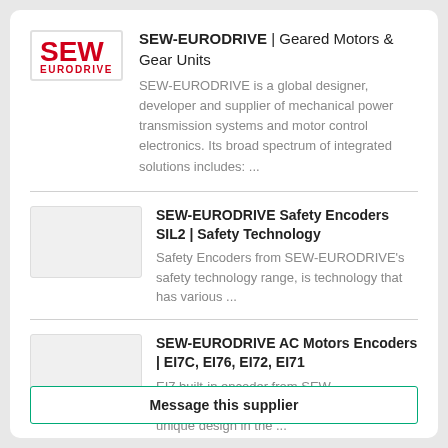[Figure (logo): SEW-EURODRIVE company logo in red text]
SEW-EURODRIVE | Geared Motors & Gear Units
SEW-EURODRIVE is a global designer, developer and supplier of mechanical power transmission systems and motor control electronics. Its broad spectrum of integrated solutions includes: ...
[Figure (photo): Thumbnail image placeholder for SEW-EURODRIVE Safety Encoders]
SEW-EURODRIVE Safety Encoders SIL2 | Safety Technology
Safety Encoders from SEW-EURODRIVE's safety technology range, is technology that has various ...
[Figure (photo): Thumbnail image placeholder for SEW-EURODRIVE AC Motors Encoders]
SEW-EURODRIVE AC Motors Encoders | EI7C, EI76, EI72, EI71
EI7 built-in encoder from SEW-EURODRIVE's AC motors range, is of a unique design in the ...
Message this supplier